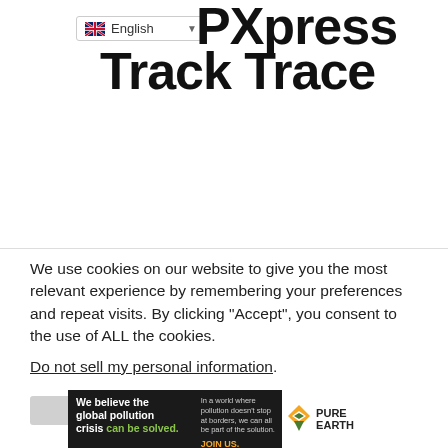English
PXpress Track Trace
We use cookies on our website to give you the most relevant experience by remembering your preferences and repeat visits. By clicking “Accept”, you consent to the use of ALL the cookies.
Do not sell my personal information.
[Figure (screenshot): Cookie consent buttons: 'Cookie Settings' (grey) and 'Accept' (green)]
[Figure (infographic): Pure Earth ad banner: 'We believe the global pollution crisis can be solved.' with green text, and 'In a world where pollution doesn't stop at borders, we can all be part of the solution. JOIN US.' with Pure Earth logo.]